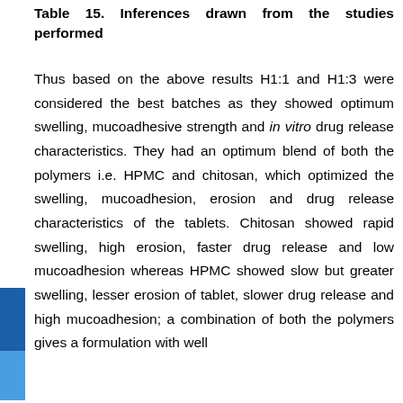Table 15. Inferences drawn from the studies performed
Thus based on the above results H1:1 and H1:3 were considered the best batches as they showed optimum swelling, mucoadhesive strength and in vitro drug release characteristics. They had an optimum blend of both the polymers i.e. HPMC and chitosan, which optimized the swelling, mucoadhesion, erosion and drug release characteristics of the tablets. Chitosan showed rapid swelling, high erosion, faster drug release and low mucoadhesion whereas HPMC showed slow but greater swelling, lesser erosion of tablet, slower drug release and high mucoadhesion; a combination of both the polymers gives a formulation with well